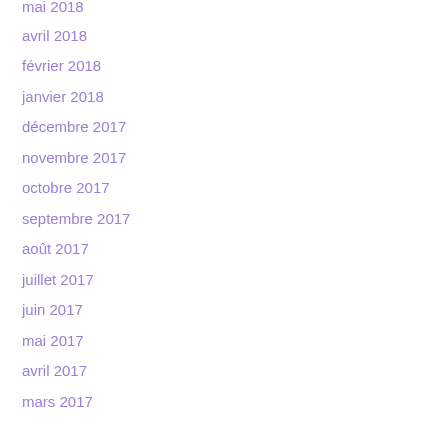mai 2018
avril 2018
février 2018
janvier 2018
décembre 2017
novembre 2017
octobre 2017
septembre 2017
août 2017
juillet 2017
juin 2017
mai 2017
avril 2017
mars 2017